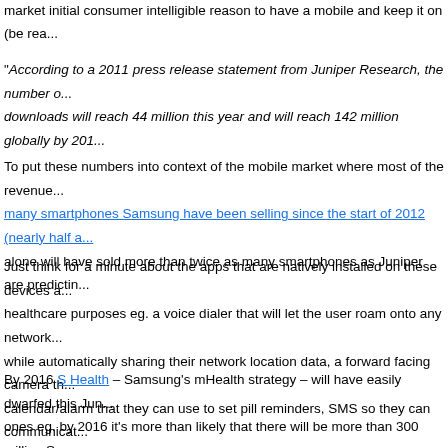market initial consumer intelligible reason to have a mobile and keep it on (be rea...
"According to a 2011 press release statement from Juniper Research, the number of downloads will reach 44 million this year and will reach 142 million globally by 2016..."
To put these numbers into context of the mobile market where most of the revenue... many smartphones Samsung have been selling since the start of 2012 (nearly half a... alone will have sold more than twice as many smartphones as Juniper are predictin...
Just think for a minute about the apps that are natively installed on these devices a... healthcare purposes eg. a voice dialer that will let the user roam onto any network... while automatically sharing their network location data, a forward facing camera th... calendar/alarm that they can use to set pill reminders, SMS so they can communicat... browser that they can use to look up information on a symptom or disease they are... can use to watch rich health videos, etc.
By 2016 S Health – Samsung's mHealth strategy – will have easily dwarfed this Jun... ones eg. by 2016 it's more than likely that there will be more than 300 million Sams... and are in use that have native mHealth apps installed (and by 2016 all these devic...